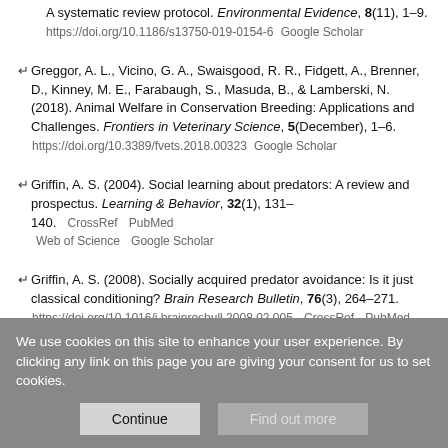A systematic review protocol. Environmental Evidence, 8(11), 1–9. https://doi.org/10.1186/s13750-019-0154-6  Google Scholar
Greggor, A. L., Vicino, G. A., Swaisgood, R. R., Fidgett, A., Brenner, D., Kinney, M. E., Farabaugh, S., Masuda, B., & Lamberski, N. (2018). Animal Welfare in Conservation Breeding: Applications and Challenges. Frontiers in Veterinary Science, 5(December), 1–6. https://doi.org/10.3389/fvets.2018.00323  Google Scholar
Griffin, A. S. (2004). Social learning about predators: A review and prospectus. Learning & Behavior, 32(1), 131–140. CrossRef PubMed Web of Science Google Scholar
Griffin, A. S. (2008). Socially acquired predator avoidance: Is it just classical conditioning? Brain Research Bulletin, 76(3), 264–271. https://doi.org/10.1016/j.brainresbull.2008.02.005  CrossRef PubMed Web of Science Google Scholar
We use cookies on this site to enhance your user experience. By clicking any link on this page you are giving your consent for us to set cookies.